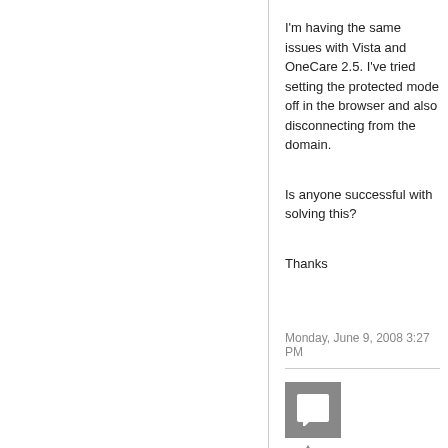I'm having the same issues with Vista and OneCare 2.5. I've tried setting the protected mode off in the browser and also disconnecting from the domain.
Is anyone successful with solving this?
Thanks
Monday, June 9, 2008 3:27 PM
[Figure (illustration): Gray square avatar icon with a speech bubble/comment symbol inside]
[Figure (illustration): Upward pointing triangle arrow (vote up button)]
[Figure (illustration): Downward pointing element (vote down or comment button)]